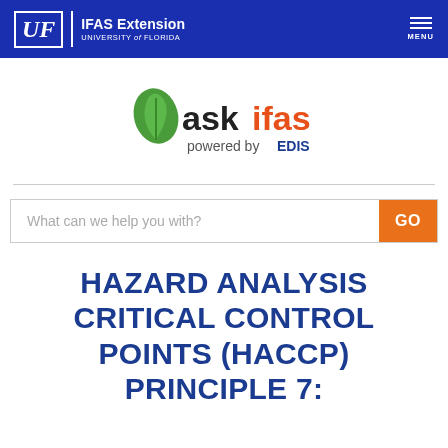UF | IFAS Extension UNIVERSITY of FLORIDA MENU
[Figure (logo): askifas powered by EDIS logo with green leaf and orange/dark text]
[Figure (other): Search bar: 'What can we help you with?' with orange GO button]
HAZARD ANALYSIS CRITICAL CONTROL POINTS (HACCP) PRINCIPLE 7: